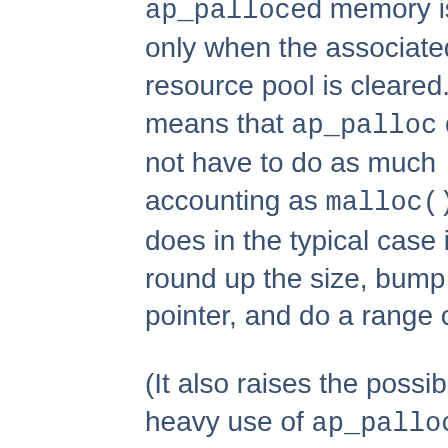ap_palloced memory is freed only when the associated resource pool is cleared. This means that ap_palloc does not have to do as much accounting as malloc(); all it does in the typical case is to round up the size, bump a pointer, and do a range check.
(It also raises the possibility that heavy use of ap_palloc could cause a server process to grow excessively large. There are two ways to deal with this, which are dealt with below; briefly, you can use malloc, and try to be sure that all of the memory gets explicitly freed, or you can allocate a sub-pool of the